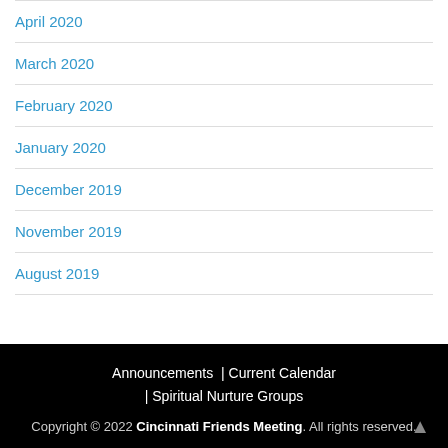April 2020
March 2020
February 2020
January 2020
December 2019
November 2019
August 2019
Announcements | Current Calendar | Spiritual Nurture Groups
Copyright © 2022 Cincinnati Friends Meeting. All rights reserved.